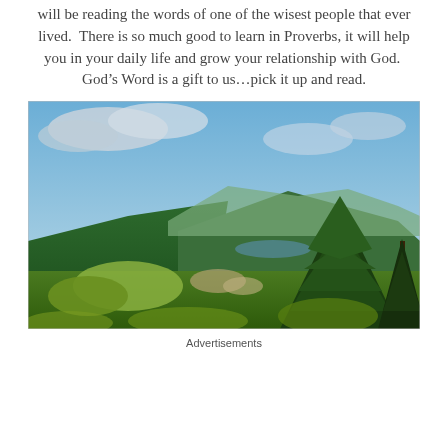will be reading the words of one of the wisest people that ever lived.  There is so much good to learn in Proverbs, it will help you in your daily life and grow your relationship with God.  God’s Word is a gift to us…pick it up and read.
[Figure (photo): Scenic mountain valley landscape with conifer forests, rolling hills, a distant lake or river visible between the mountains, blue sky with clouds, and a tall evergreen tree prominent on the right side.]
Advertisements